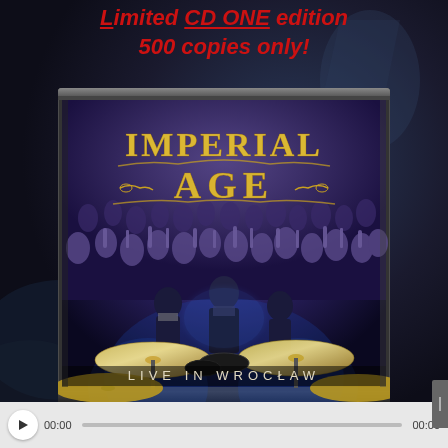Limited CD ONE edition 500 copies only!
[Figure (photo): Imperial Age - Live in Wroclaw CD album cover showing the band on stage with a crowd behind them and drum cymbals in the foreground. The CD is shown in a jewel case.]
00:00  00:00 (media player bar)